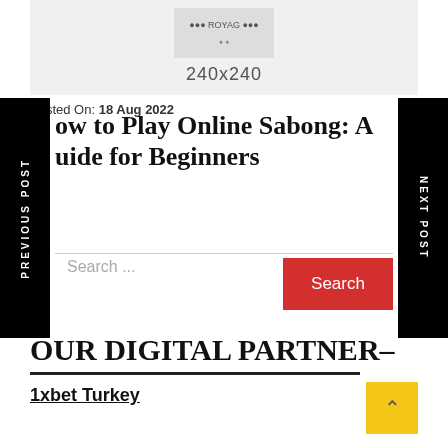[Figure (logo): Partial logo image placeholder showing '240x240' text on gray background]
Posted On: 18 Aug 2022
ow to Play Online Sabong: A uide for Beginners
Search ...
Search
OUR DIGITAL PARTNER–
1xbet Turkey